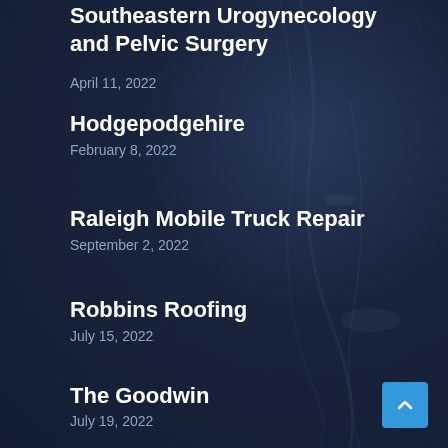Southeastern Urogynecology and Pelvic Surgery
April 11, 2022
Hodgepodgehire
February 8, 2022
Raleigh Mobile Truck Repair
September 2, 2022
Robbins Roofing
July 15, 2022
The Goodwin
July 19, 2022